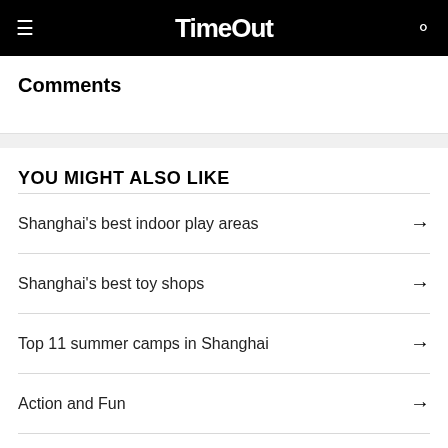TimeOut
Comments
YOU MIGHT ALSO LIKE
Shanghai's best indoor play areas
Shanghai's best toy shops
Top 11 summer camps in Shanghai
Action and Fun
Earth Day celebrations at Shanghai Disney Resort